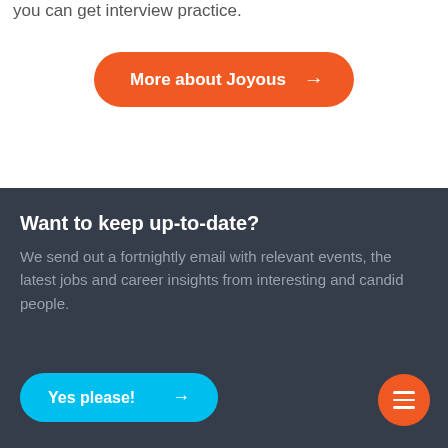you can get interview practice.
[Figure (other): Orange rounded button labeled 'More about Joyous' with right arrow]
Want to keep up-to-date?
We send out a fortnightly email with relevant events, the latest jobs and career insights from interesting and candid people.
[Figure (other): Cyan rounded button labeled 'Yes please!' with right arrow]
[Figure (other): Orange circular menu button with three horizontal bars]